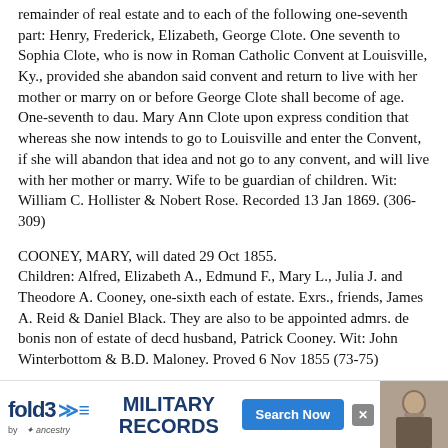remainder of real estate and to each of the following one-seventh part: Henry, Frederick, Elizabeth, George Clote. One seventh to Sophia Clote, who is now in Roman Catholic Convent at Louisville, Ky., provided she abandon said convent and return to live with her mother or marry on or before George Clote shall become of age. One-seventh to dau. Mary Ann Clote upon express condition that whereas she now intends to go to Louisville and enter the Convent, if she will abandon that idea and not go to any convent, and will live with her mother or marry. Wife to be guardian of children. Wit: William C. Hollister & Nobert Rose. Recorded 13 Jan 1869. (306-309)
COONEY, MARY, will dated 29 Oct 1855. Children: Alfred, Elizabeth A., Edmund F., Mary L., Julia J. and Theodore A. Cooney, one-sixth each of estate. Exrs., friends, James A. Reid & Daniel Black. They are also to be appointed admrs. de bonis non of estate of decd husband, Patrick Cooney. Wit: John Winterbottom & B.D. Maloney. Proved 6 Nov 1855 (73-75)
COONY, EDMUND F., will dated 8 July 1866. One-fifth to each to brothers and sisters: Elizabeth A. Pell, Alfred Co... ...re A. Coony. E... ...n H.
[Figure (other): Advertisement banner for Fold3 Military Records by Ancestry with a Search Now button and a historical military photo.]